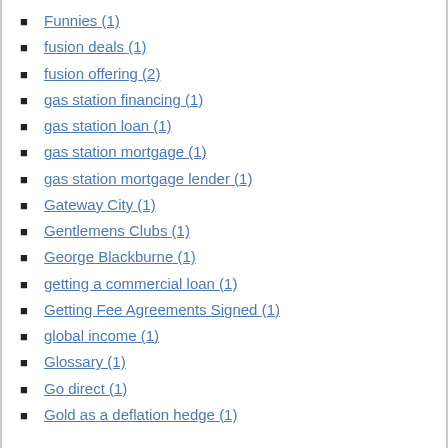Funnies (1)
fusion deals (1)
fusion offering (2)
gas station financing (1)
gas station loan (1)
gas station mortgage (1)
gas station mortgage lender (1)
Gateway City (1)
Gentlemens Clubs (1)
George Blackburne (1)
getting a commercial loan (1)
Getting Fee Agreements Signed (1)
global income (1)
Glossary (1)
Go direct (1)
Gold as a deflation hedge (1)